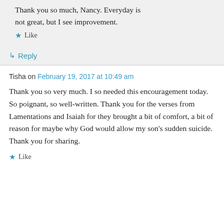Thank you so much, Nancy. Everyday is not great, but I see improvement.
★ Like
↳ Reply
Tisha on February 19, 2017 at 10:49 am
Thank you so very much. I so needed this encouragement today. So poignant, so well-written. Thank you for the verses from Lamentations and Isaiah for they brought a bit of comfort, a bit of reason for maybe why God would allow my son's sudden suicide. Thank you for sharing.
★ Like